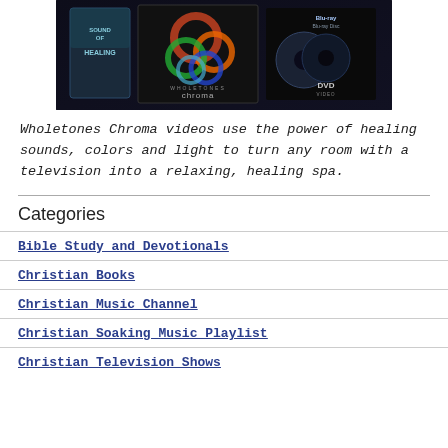[Figure (photo): Product photo of Wholetones Chroma media set including a book titled 'Sound of Healing', a Chroma disc case, and Blu-ray/DVD discs on a dark background.]
Wholetones Chroma videos use the power of healing sounds, colors and light to turn any room with a television into a relaxing, healing spa.
Categories
Bible Study and Devotionals
Christian Books
Christian Music Channel
Christian Soaking Music Playlist
Christian Television Shows